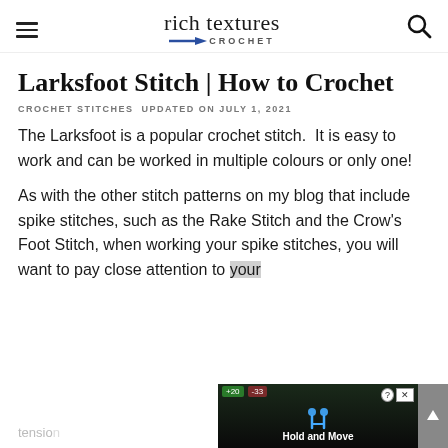rich textures CROCHET
Larksfoot Stitch | How to Crochet
CROCHET STITCHES UPDATED ON JULY 1, 2021
The Larksfoot is a popular crochet stitch.  It is easy to work and can be worked in multiple colours or only one!
As with the other stitch patterns on my blog that include spike stitches, such as the Rake Stitch and the Crow's Foot Stitch, when working your spike stitches, you will want to pay close attention to your tension
[Figure (screenshot): Advertisement overlay at bottom of page showing Hold and Move app with dark background]